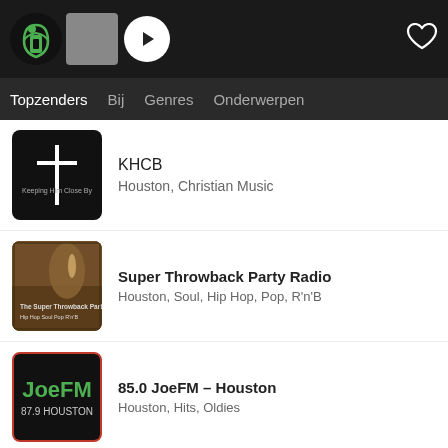[Figure (screenshot): App top navigation bar with logo, gray block, play button, and heart icon]
[Figure (screenshot): Navigation menu with tabs: Topzenders, Bij, Genres, Onderwerpen]
KHCB — Houston, Christian Music
Super Throwback Party Radio — Houston, Soul, Hip Hop, Pop, R'n'B
85.0 JoeFM - Houston — Houston, Hits, Oldies
Estéreo Latino 102.9 - KLTN — Houston, Latin